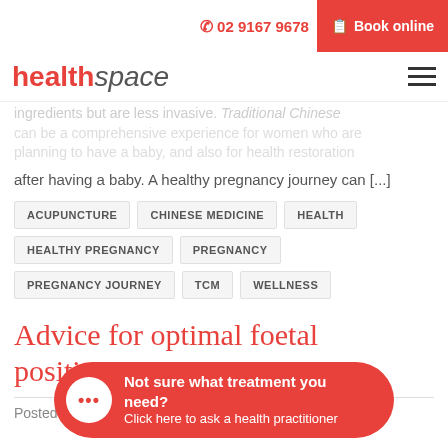02 9167 9678 | Book online
[Figure (logo): healthspace logo with hamburger menu]
complementary and non-invasive alternative for the pregnancy journey, not only for ingredients but are less invasive. Traditional Chinese can be a comprehensive experience for women who are planning to have a baby, and also for health restoration after having a baby. A healthy pregnancy journey can [...]
ACUPUNCTURE
CHINESE MEDICINE
HEALTH
HEALTHY PREGNANCY
PREGNANCY
PREGNANCY JOURNEY
TCM
WELLNESS
Advice for optimal foetal positioning
Posted on Ju
Not sure what treatment you need? Click here to ask a health practitioner